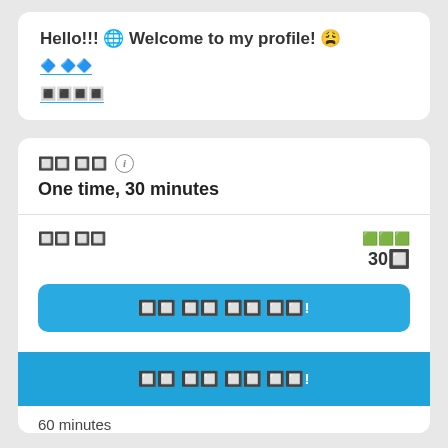Hello!!! 🌐 Welcome to my profile! 😩
🔷 🔷🔷
🔳🔳🔳🔳
🔲🔲 🔲🔲 ℹ️
One time, 30 minutes
🔲🔲 🔲🔲
🟩🟩🟩
30🔲
🔲🔲 🔲🔲 🔲🔲 🔲🔲!
🔲🔲 🔲🔲 🔲🔲 🔲🔲!
60 minutes